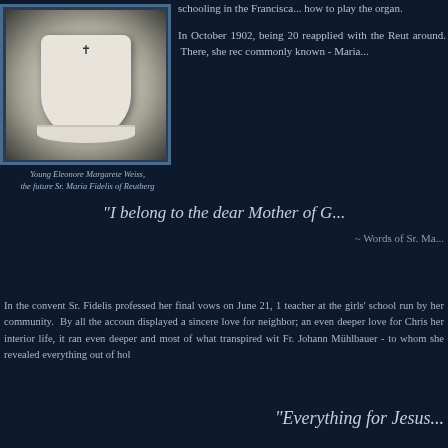[Figure (photo): Black and white photograph of young Eleonore Margarete Weiss wearing a white veil/cloth with a cross, set in a blue-bordered frame]
Young Eleonore Margarete Weiss, the future Sr. Maria Fidelis of Reutberg
schooling in the Franciscan ... how to play the organ.
In October 1902, being 20... reapplied with the Reutberg... around. There, she rec... commonly known - Maria...
"I belong to the dear Mother of G...
~ Words of Sr. Ma...
In the convent Sr. Fidelis professed her final vows on June 21, 1... teacher at the girls' school run by her community. By all the accoun... displayed a sincere love for neighbor; an even deeper love for Chris... her interior life, it ran even deeper and most of what transpired wit... Fr. Johann Mühlbauer - to whom she revealed everything out of hol...
"Everything for Jesus...